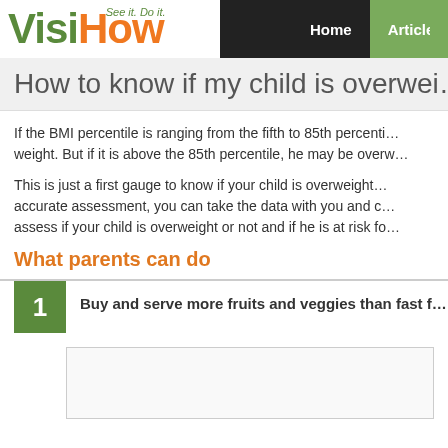VisiHow — See it. Do it. | Home | Articles
How to know if my child is overwei…
If the BMI percentile is ranging from the fifth to 85th percenti… weight. But if it is above the 85th percentile, he may be overw…
This is just a first gauge to know if your child is overweight… accurate assessment, you can take the data with you and c… assess if your child is overweight or not and if he is at risk fo…
What parents can do
1 Buy and serve more fruits and veggies than fast f…
[Figure (photo): Image placeholder area below step 1]